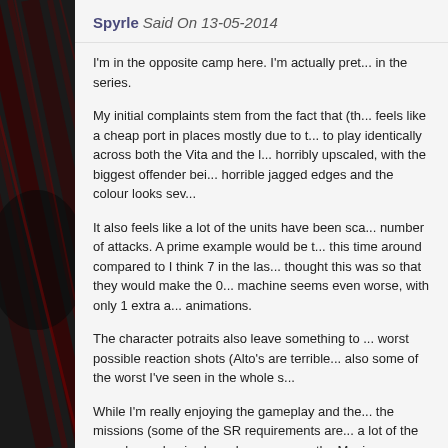Spyrle Said On 13-05-2014
I'm in the opposite camp here. I'm actually pret... in the series.
My initial complaints stem from the fact that (th... horrible jagged edges and the colour looks sev...
It also feels like a lot of the units have been sca... number of attacks. A prime example would be t... this time around compared to I think 7 in the las... thought this was so that they would make the 0... machine seems even worse, with only 1 extra a... animations.
The character potraits also leave something to ... worst possible reaction shots (Alto's are terrible... also some of the worst I've seen in the whole s...
While I'm really enjoying the gameplay and the... the missions (some of the SR requirements are... a lot of the game's mechanics have been geare... the Maximum Break. Against most bosses yo...